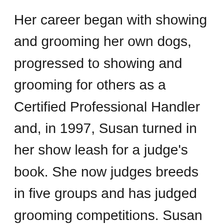Her career began with showing and grooming her own dogs, progressed to showing and grooming for others as a Certified Professional Handler and, in 1997, Susan turned in her show leash for a judge's book. She now judges breeds in five groups and has judged grooming competitions. Susan is presently an AKC Delegate for the Black Russian Terrier Club of America, where she holds the office of Recording Secretary and serves as Chairman of the Judges Education Committee.
Adrian Smith